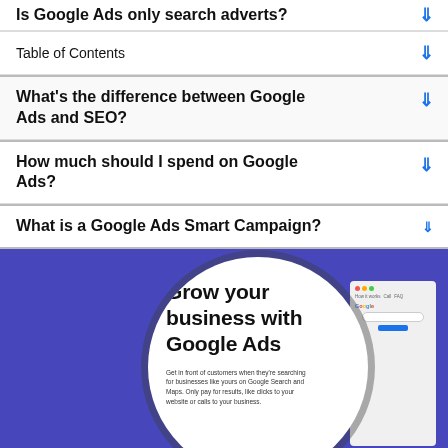Is Google Ads only search adverts? ↓
Table of Contents ↓
What's the difference between Google Ads and SEO? ↓
How much should I spend on Google Ads? ↓
What is a Google Ads Smart Campaign? ↓
[Figure (photo): A magnifying glass over a browser window showing 'Grow your business with Google Ads' on a purple/blue background. The browser shows the Google Ads homepage with tagline 'Get in front of customers when they're searching for businesses like yours on Google Search and Maps. Only pay for results, like clicks to your website or calls to your business.']